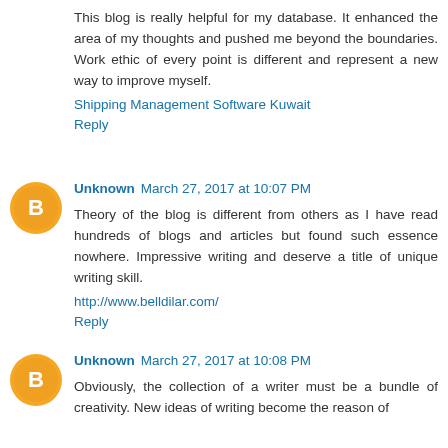This blog is really helpful for my database. It enhanced the area of my thoughts and pushed me beyond the boundaries. Work ethic of every point is different and represent a new way to improve myself.
Shipping Management Software Kuwait
Reply
Unknown March 27, 2017 at 10:07 PM
Theory of the blog is different from others as I have read hundreds of blogs and articles but found such essence nowhere. Impressive writing and deserve a title of unique writing skill.
http://www.belldilar.com/
Reply
Unknown March 27, 2017 at 10:08 PM
Obviously, the collection of a writer must be a bundle of creativity. New ideas of writing become the reason of